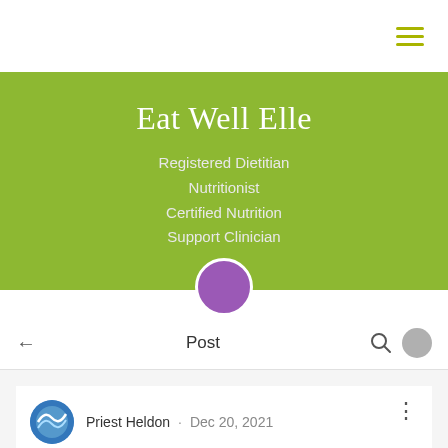[Figure (screenshot): Hamburger menu icon with three horizontal lines in olive/yellow-green color, top right corner]
Eat Well Elle
Registered Dietitian
Nutritionist
Certified Nutrition Support Clinician
Post
Priest Heldon · Dec 20, 2021
JOIN ILLUMINATI SOCIETY IN ALBERTON +27839387284 in South Africa, Swaziland, Zimbabwe,